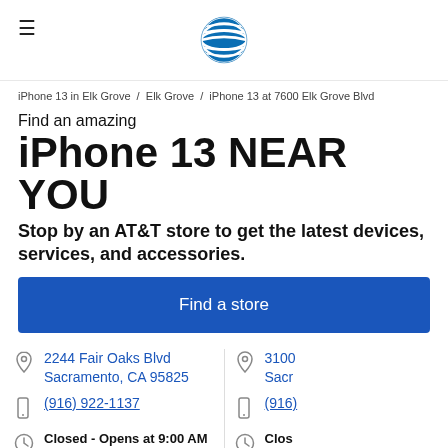AT&T logo and navigation
iPhone 13 in Elk Grove / Elk Grove / iPhone 13 at 7600 Elk Grove Blvd
Find an amazing iPhone 13 NEAR YOU
Stop by an AT&T store to get the latest devices, services, and accessories.
Find a store
2244 Fair Oaks Blvd Sacramento, CA 95825
(916) 922-1137
Closed - Opens at 9:00 AM
3100 Sacr
(916)
Clos